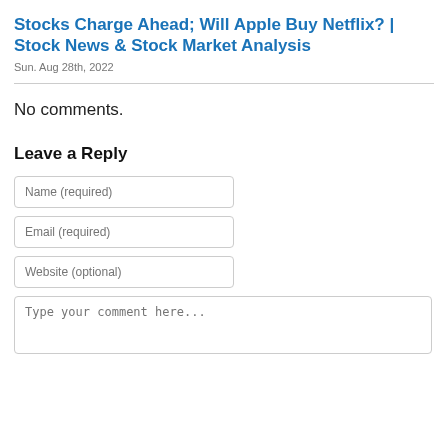Stocks Charge Ahead; Will Apple Buy Netflix? | Stock News & Stock Market Analysis
Sun. Aug 28th, 2022
No comments.
Leave a Reply
Name (required)
Email (required)
Website (optional)
Type your comment here...